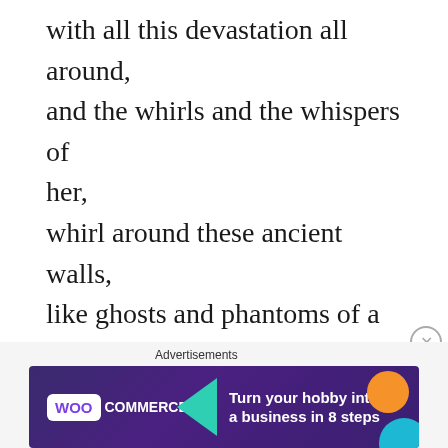with all this devastation all around, and the whirls and the whispers of her, whirl around these ancient walls, like ghosts and phantoms of a forgotten war, sirens singing and sailors catcalls, an ancient power stronger than man, was pounding on my door of reason, time then to drop my stance, I ran,
Advertisements
[Figure (other): WooCommerce advertisement banner with dark purple background, teal triangle decoration, orange circle, blue circle. Text reads: WOO COMMERCE - Turn your hobby into a business in 8 steps]